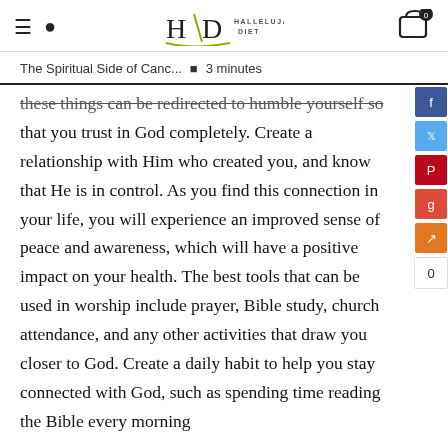HD HALLELUJAH DIET
The Spiritual Side of Canc...  •  3 minutes
these things can be redirected to humble yourself so that you trust in God completely. Create a relationship with Him who created you, and know that He is in control. As you find this connection in your life, you will experience an improved sense of peace and awareness, which will have a positive impact on your health. The best tools that can be used in worship include prayer, Bible study, church attendance, and any other activities that draw you closer to God. Create a daily habit to help you stay connected with God, such as spending time reading the Bible every morning